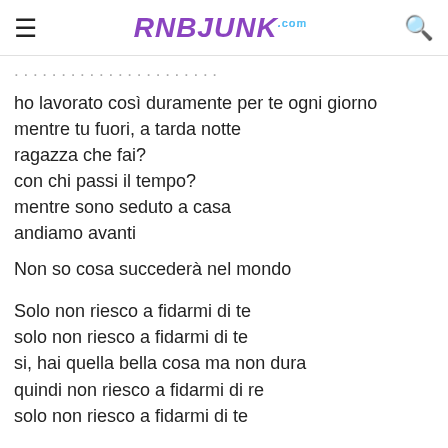RNBJUNK.com
ho lavorato così duramente per te ogni giorno
mentre tu fuori, a tarda notte
ragazza che fai?
con chi passi il tempo?
mentre sono seduto a casa
andiamo avanti
Non so cosa succederà nel mondo
Solo non riesco a fidarmi di te
solo non riesco a fidarmi di te
si, hai quella bella cosa ma non dura
quindi non riesco a fidarmi di re
solo non riesco a fidarmi di te
oh Signore
come lo potrei mai spiegare?